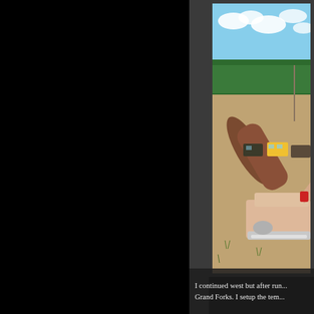[Figure (photo): Photo of a junkyard or car lot with old vintage vehicles including a pink/beige classic car rear with tail fins and chrome bumper, a yellow school bus, and other old vehicles in background. Sandy/dirt ground with trees and blue sky in background. Photo is framed with a dark border strip on the left side.]
[Figure (photo): Small thumbnail image partially visible in lower right area with a grey/beige background and a play or navigation arrow triangle.]
I continued west but after run... Grand Forks. I setup the tem...